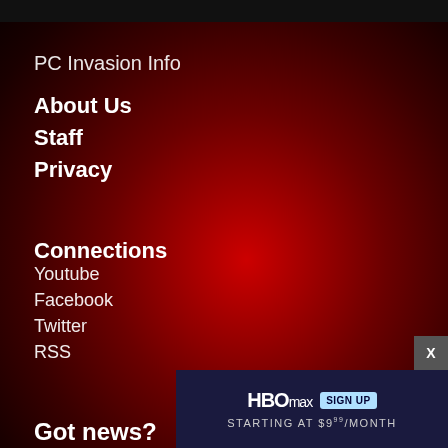PC Invasion Info
About Us
Staff
Privacy
Connections
Youtube
Facebook
Twitter
RSS
Got news?
editor@pcinvas
[Figure (screenshot): HBO Max advertisement banner: 'HBO max SIGN UP STARTING AT $9.99/MONTH' with close button X]